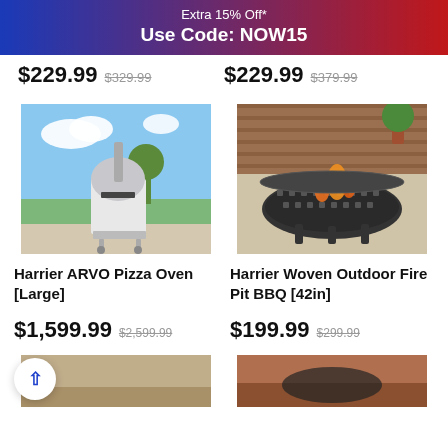Extra 15% Off*
Use Code: NOW15
$229.99  $329.99    $229.99  $379.99
[Figure (photo): Harrier ARVO Pizza Oven (Large) on a patio with green garden background and blue sky]
[Figure (photo): Harrier Woven Outdoor Fire Pit BBQ 42in with flames inside, on a patio with wicker furniture and plants in background]
Harrier ARVO Pizza Oven [Large]
Harrier Woven Outdoor Fire Pit BBQ [42in]
$1,599.99  $2,599.99
$199.99  $299.99
[Figure (photo): Partially visible product image at bottom left]
[Figure (photo): Partially visible product image at bottom right]